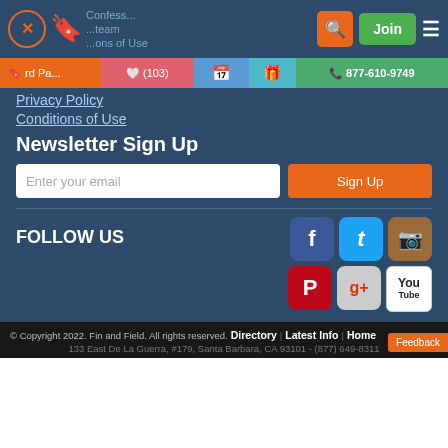Navigation bar with logo, search, Join button, menu
Third Party | (103) | calendar icon | gift icon | 877-610-9749
Privacy Policy
Conditions of Use
Newsletter Sign Up
Enter your email | Sign Up
FOLLOW US
[Figure (infographic): Social media icons: Facebook, Twitter, Instagram, Pinterest, Google+, YouTube]
© Copyright 2022. Fin and Field. All rights reserved. | Directory | Latest Info | Home
133 East De La Guerra, #179, Santa Barbara, CA 93101 - (877) 649-8311
Feedback